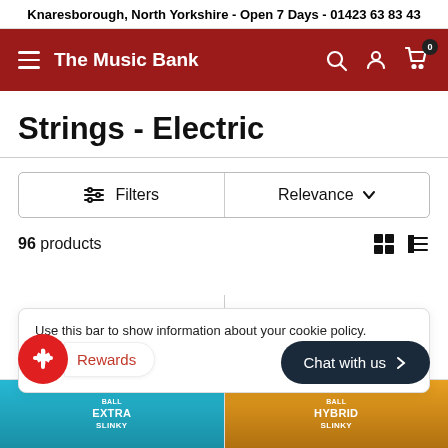Knaresborough, North Yorkshire - Open 7 Days - 01423 63 83 43
The Music Bank
Strings - Electric
Filters | Relevance
96 products
Use this bar to show information about your cookie policy.
Rewards
Chat with us
[Figure (screenshot): Two product thumbnail images at the bottom: blue Ernie Ball Extra Slinky strings and orange Ernie Ball Hybrid Slinky strings]